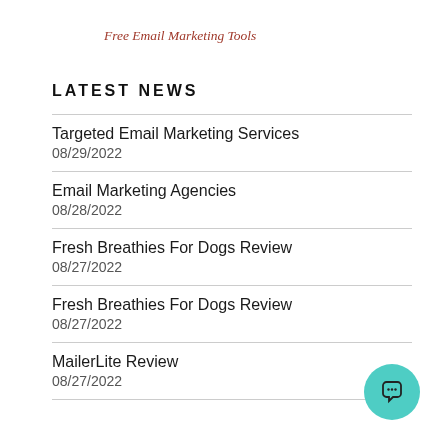Free Email Marketing Tools
LATEST NEWS
Targeted Email Marketing Services
08/29/2022
Email Marketing Agencies
08/28/2022
Fresh Breathies For Dogs Review
08/27/2022
Fresh Breathies For Dogs Review
08/27/2022
MailerLite Review
08/27/2022